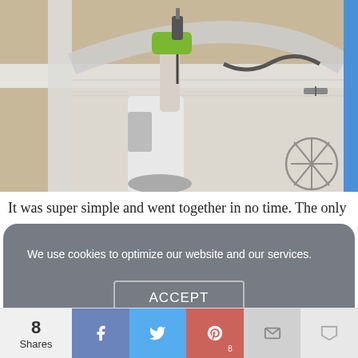[Figure (photo): Person using a green cordless drill on a white wooden frame/door, viewed from above. Wearing white pants and work gloves. A watermark logo (crossed swords in a circle) is visible in the bottom right of the photo.]
It was super simple and went together in no time. The only
We use cookies to optimize our website and our services.
ACCEPT
Opt-Out Preferences   BLOG POLICIES
8
Shares